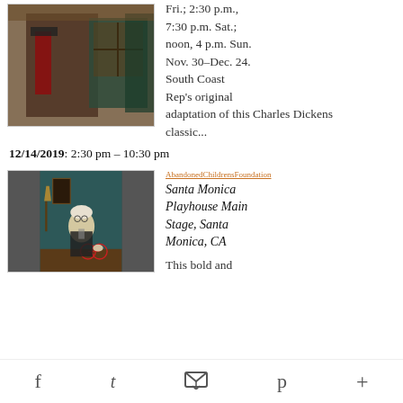[Figure (photo): Two actors on a theatrical stage set with ornate Victorian-style backdrop, one wearing a red sash or scarf]
Fri.; 2:30 p.m., 7:30 p.m. Sat.; noon, 4 p.m. Sun. Nov. 30–Dec. 24. South Coast Rep's original adaptation of this Charles Dickens classic...
12/14/2019: 2:30 pm – 10:30 pm
[Figure (photo): Elderly man with white hair and glasses seated at a desk writing, dressed in Victorian-era clothing with a scarf]
AbandonedChildrensFoundation
Santa Monica Playhouse Main Stage, Santa Monica, CA
This bold and
f  t  [envelope]  p  +